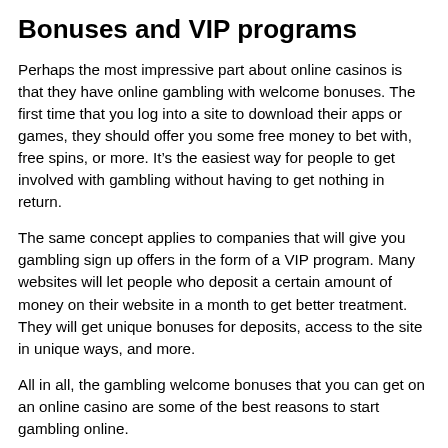Bonuses and VIP programs
Perhaps the most impressive part about online casinos is that they have online gambling with welcome bonuses. The first time that you log into a site to download their apps or games, they should offer you some free money to bet with, free spins, or more. It's the easiest way for people to get involved with gambling without having to get nothing in return.
The same concept applies to companies that will give you gambling sign up offers in the form of a VIP program. Many websites will let people who deposit a certain amount of money on their website in a month to get better treatment. They will get unique bonuses for deposits, access to the site in unique ways, and more.
All in all, the gambling welcome bonuses that you can get on an online casino are some of the best reasons to start gambling online.